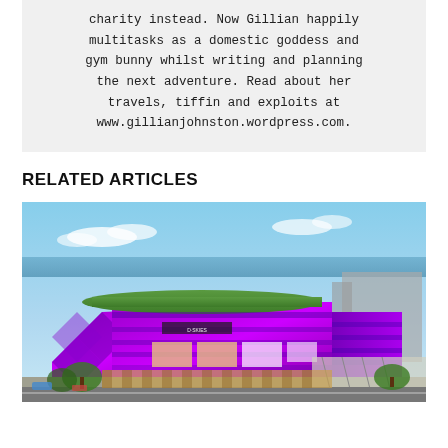charity instead. Now Gillian happily multitasks as a domestic goddess and gym bunny whilst writing and planning the next adventure. Read about her travels, tiffin and exploits at www.gillianjohnston.wordpress.com.
RELATED ARTICLES
[Figure (photo): Aerial rendering of a large modern building complex with bright purple/magenta facade panels and a green rooftop, surrounded by roads and other buildings, with water visible in the background.]